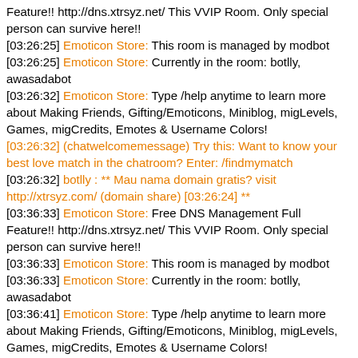Feature!! http://dns.xtrsyz.net/ This VVIP Room. Only special person can survive here!!
[03:26:25] Emoticon Store: This room is managed by modbot
[03:26:25] Emoticon Store: Currently in the room: botlly, awasadabot
[03:26:32] Emoticon Store: Type /help anytime to learn more about Making Friends, Gifting/Emoticons, Miniblog, migLevels, Games, migCredits, Emotes & Username Colors!
[03:26:32] (chatwelcomemessage) Try this: Want to know your best love match in the chatroom? Enter: /findmymatch
[03:26:32] botlly : ** Mau nama domain gratis? visit http://xtrsyz.com/ (domain share) [03:26:24] **
[03:36:33] Emoticon Store: Free DNS Management Full Feature!! http://dns.xtrsyz.net/ This VVIP Room. Only special person can survive here!!
[03:36:33] Emoticon Store: This room is managed by modbot
[03:36:33] Emoticon Store: Currently in the room: botlly, awasadabot
[03:36:41] Emoticon Store: Type /help anytime to learn more about Making Friends, Gifting/Emoticons, Miniblog, migLevels, Games, migCredits, Emotes & Username Colors!
[03:36:41] (chatwelcomemessage) Try This: There are lots of